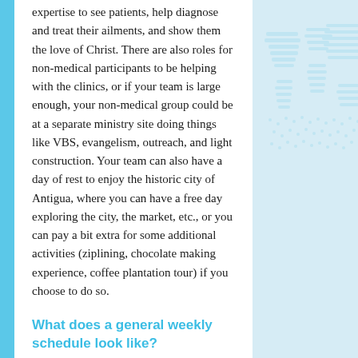expertise to see patients, help diagnose and treat their ailments, and show them the love of Christ. There are also roles for non-medical participants to be helping with the clinics, or if your team is large enough, your non-medical group could be at a separate ministry site doing things like VBS, evangelism, outreach, and light construction. Your team can also have a day of rest to enjoy the historic city of Antigua, where you can have a free day exploring the city, the market, etc., or you can pay a bit extra for some additional activities (ziplining, chocolate making experience, coffee plantation tour) if you choose to do so.
What does a general weekly schedule look like?
Saturday. Travel day. Arrive and get settled in.
Sunday. Cultural day in Antigua. Visit the market, tour the city, eat a nice